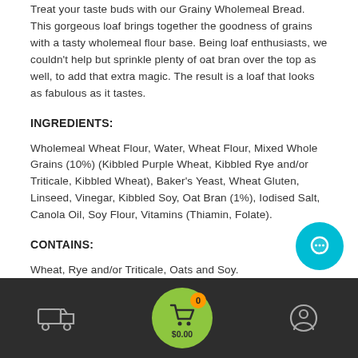Treat your taste buds with our Grainy Wholemeal Bread. This gorgeous loaf brings together the goodness of grains with a tasty wholemeal flour base. Being loaf enthusiasts, we couldn't help but sprinkle plenty of oat bran over the top as well, to add that extra magic. The result is a loaf that looks as fabulous as it tastes.
INGREDIENTS:
Wholemeal Wheat Flour, Water, Wheat Flour, Mixed Whole Grains (10%) (Kibbled Purple Wheat, Kibbled Rye and/or Triticale, Kibbled Wheat), Baker's Yeast, Wheat Gluten, Linseed, Vinegar, Kibbled Soy, Oat Bran (1%), Iodised Salt, Canola Oil, Soy Flour, Vitamins (Thiamin, Folate).
CONTAINS:
Wheat, Rye and/or Triticale, Oats and Soy.
MAY BE PRESENT:
Cart: $0.00  (0 items)